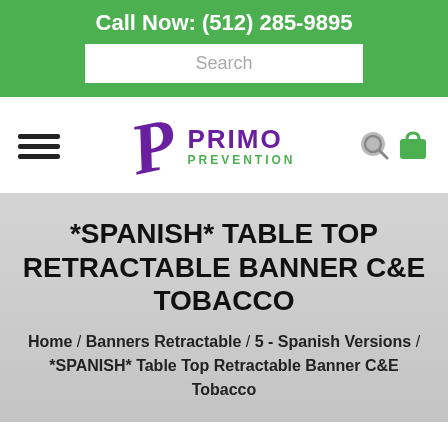Call Now: (512) 285-9895
Search
[Figure (logo): Primo Prevention logo with stylized purple P and green PREVENTION text]
*SPANISH* TABLE TOP RETRACTABLE BANNER C&E TOBACCO
Home / Banners Retractable / 5 - Spanish Versions / *SPANISH* Table Top Retractable Banner C&E Tobacco